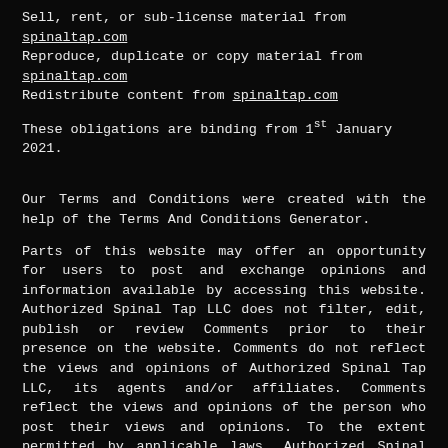Sell, rent, or sub-license material from spinaltap.com
Reproduce, duplicate or copy material from spinaltap.com
Redistribute content from spinaltap.com
These obligations are binding from 1st January 2021.
Our Terms and Conditions were created with the help of the Terms And Conditions Generator.
Parts of this website may offer an opportunity for users to post and exchange opinions and information available by accessing this website. Authorized Spinal Tap LLC does not filter, edit, publish or review Comments prior to their presence on the website. Comments do not reflect the views and opinions of Authorized Spinal Tap LLC, its agents and/or affiliates. Comments reflect the views and opinions of the person who post their views and opinions. To the extent permitted by applicable laws, Authorized Spinal Tap LLC shall not be liable for the Comments or for any liability, damages or expenses caused and/or suffered as a result of any use of and/or posting of and/or appearance of the